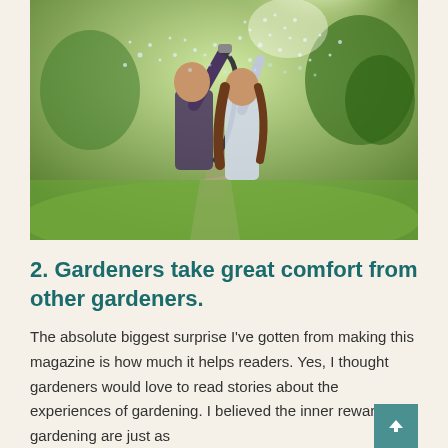[Figure (photo): Two people (a man and a woman) laughing and playing with a garden hose spraying water in a sunny green garden. The man holds the hose up high spraying water everywhere while the woman laughs beside him. Bright sunlight and green grass in background.]
2. Gardeners take great comfort from other gardeners.
The absolute biggest surprise I've gotten from making this magazine is how much it helps readers. Yes, I thought gardeners would love to read stories about the experiences of gardening. I believed the inner rewards of gardening are just as